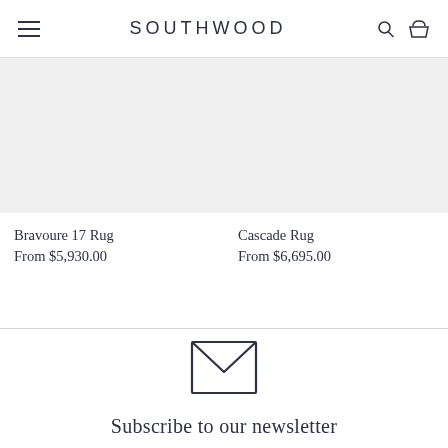SOUTHWOOD
[Figure (photo): Product image placeholder for Bravoure 17 Rug]
Bravoure 17 Rug
From $5,930.00
[Figure (photo): Product image placeholder for Cascade Rug]
Cascade Rug
From $6,695.00
[Figure (illustration): Envelope/mail icon for newsletter subscription]
Subscribe to our newsletter